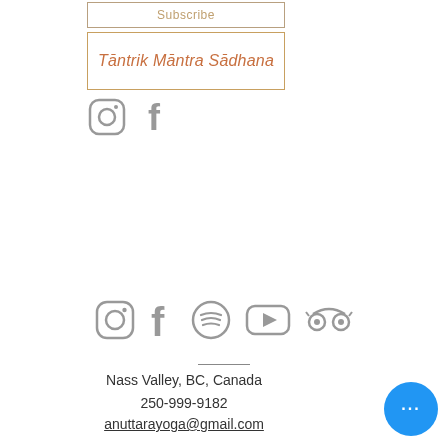Subscribe
Tāntrik Māntra Sādhana
[Figure (illustration): Instagram and Facebook social media icons (gray) in top section]
[Figure (illustration): Row of social media icons: Instagram, Facebook, Spotify, YouTube, TripAdvisor (all gray)]
Nass Valley, BC, Canada
250-999-9182
anuttarayoga@gmail.com
[Figure (illustration): Blue circular chat button with three dots (ellipsis)]